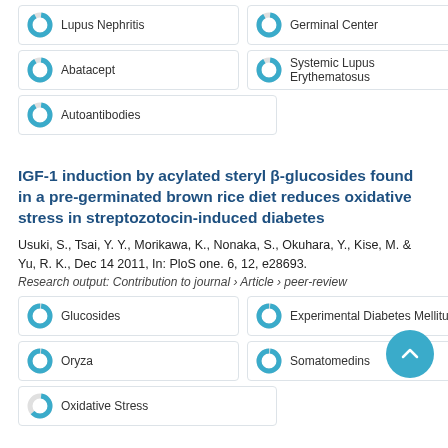Lupus Nephritis
Germinal Center
Abatacept
Systemic Lupus Erythematosus
Autoantibodies
IGF-1 induction by acylated steryl β-glucosides found in a pre-germinated brown rice diet reduces oxidative stress in streptozotocin-induced diabetes
Usuki, S., Tsai, Y. Y., Morikawa, K., Nonaka, S., Okuhara, Y., Kise, M. & Yu, R. K., Dec 14 2011, In: PloS one. 6, 12, e28693.
Research output: Contribution to journal › Article › peer-review
Glucosides
Experimental Diabetes Mellitus
Oryza
Somatomedins
Oxidative Stress
Image-guided localization accuracy of stereos planar and volumetric imaging methods for